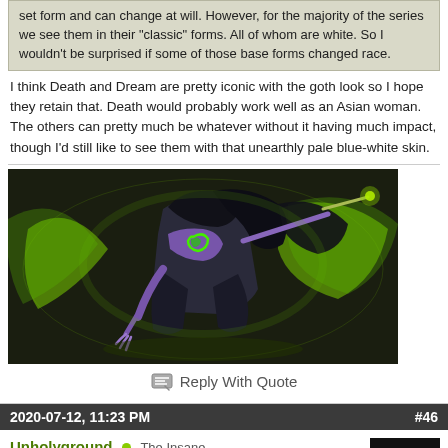set form and can change at will. However, for the majority of the series we see them in their "classic" forms. All of whom are white. So I wouldn't be surprised if some of those base forms changed race.
I think Death and Dream are pretty iconic with the goth look so I hope they retain that. Death would probably work well as an Asian woman. The others can pretty much be whatever without it having much impact, though I'd still like to see them with that unearthly pale blue-white skin.
[Figure (illustration): A fantasy game character with dark robes and glowing green energy effects, holding a weapon, with purple/violet coloring and spiral tattoo-like markings on the body]
Reply With Quote
2020-07-12, 11:23 PM   #46
Unholyground   The Insane
[Figure (photo): Dark avatar image of a face with white face paint or mask, resembling a clown or horror character]
[Figure (photo): Victoria's Secret advertisement banner: woman with curly hair on left, VS logo, text SHOP THE COLLECTION, SHOP NOW button]
has d... how that